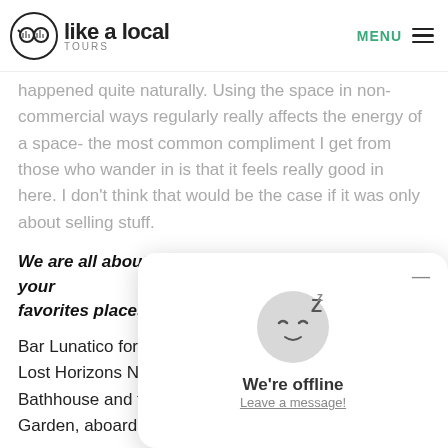like a local TOURS | MENU
happened quite naturally. Using the space in non-commercial ways regularly really affects the energy of a space- the most common compliment I get from those who wander in is that it feels really good in here. I don't think that would be the case if it was only about selling stuff.
We are all about local … can you share a few of your favorites places in NYC?
Bar Lunatico for live music, Spectacle Theater for film, Lost Horizons Night Market, Russian Turkish Bathhouse and the Desert room in the Botanic Garden, aboard any watercraft in any waterway
Can you share a favor…
The Night Heron was… night on kayak crew f… pretty special- floating… incredible show by sparkling pigeons I was lucky…